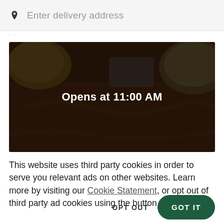Enter delivery address
[Figure (photo): Dark food photograph showing pulled meat, vegetables, grains and herbs arranged in bowls and on a surface, with a dark overlay and centered text 'Opens at 11:00 AM']
This website uses third party cookies in order to serve you relevant ads on other websites. Learn more by visiting our Cookie Statement, or opt out of third party ad cookies using the button below.
OPT OUT
GOT IT